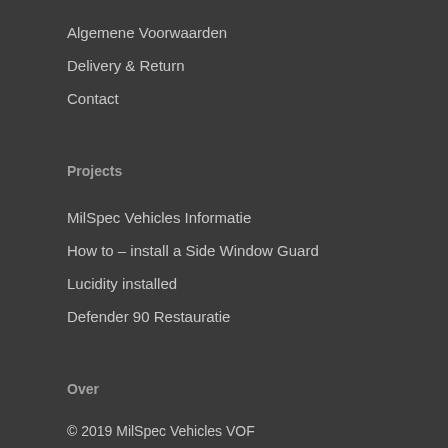Algemene Voorwaarden
Delivery & Return
Contact
Projects
MilSpec Vehicles Informatie
How to – install a Side Window Guard
Lucidity installed
Defender 90 Restauratie
Over
© 2019 MilSpec Vehicles VOF
KVK te Breda: 63163330